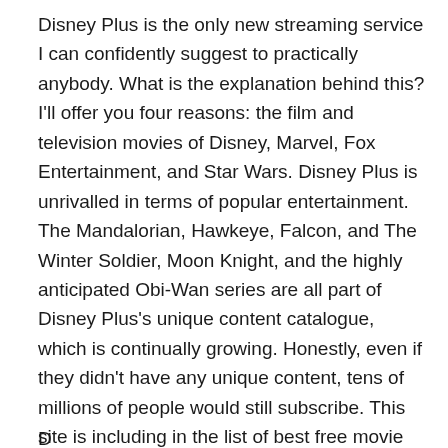Disney Plus is the only new streaming service I can confidently suggest to practically anybody. What is the explanation behind this? I'll offer you four reasons: the film and television movies of Disney, Marvel, Fox Entertainment, and Star Wars. Disney Plus is unrivalled in terms of popular entertainment. The Mandalorian, Hawkeye, Falcon, and The Winter Soldier, Moon Knight, and the highly anticipated Obi-Wan series are all part of Disney Plus's unique content catalogue, which is continually growing. Honestly, even if they didn't have any unique content, tens of millions of people would still subscribe. This site is including in the list of best free movie streaming sites in 2022.